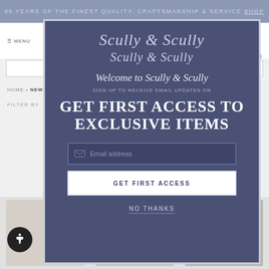88 YEARS OF THE FINEST QUALITY, CRAFTSMANSHIP & SERVICE SHOP NOW
[Figure (screenshot): Background website page showing Scully & Scully navigation, search bar, breadcrumb, filter/sort controls, and product thumbnails]
[Figure (screenshot): Modal popup overlay on Scully & Scully website with logo, welcome message, email signup form, and no thanks link]